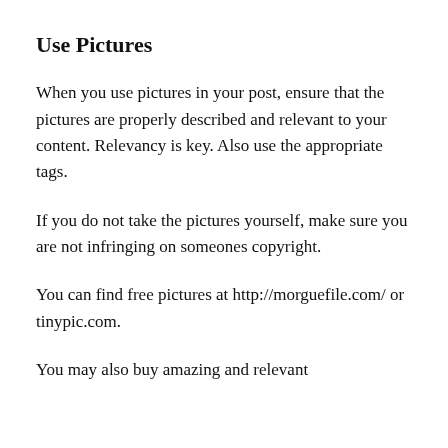Use Pictures
When you use pictures in your post, ensure that the pictures are properly described and relevant to your content. Relevancy is key. Also use the appropriate tags.
If you do not take the pictures yourself, make sure you are not infringing on someones copyright.
You can find free pictures at http://morguefile.com/ or tinypic.com.
You may also buy amazing and relevant